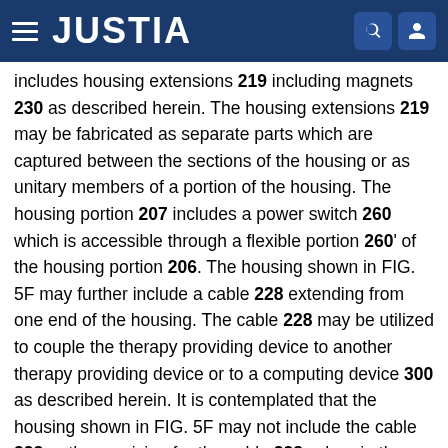JUSTIA
includes housing extensions 219 including magnets 230 as described herein. The housing extensions 219 may be fabricated as separate parts which are captured between the sections of the housing or as unitary members of a portion of the housing. The housing portion 207 includes a power switch 260 which is accessible through a flexible portion 260' of the housing portion 206. The housing shown in FIG. 5F may further include a cable 228 extending from one end of the housing. The cable 228 may be utilized to couple the therapy providing device to another therapy providing device or to a computing device 300 as described herein. It is contemplated that the housing shown in FIG. 5F may not include the cable 228 or the provision for the cable 228, wherein the therapy providing device would utilize wireless communication as described herein.